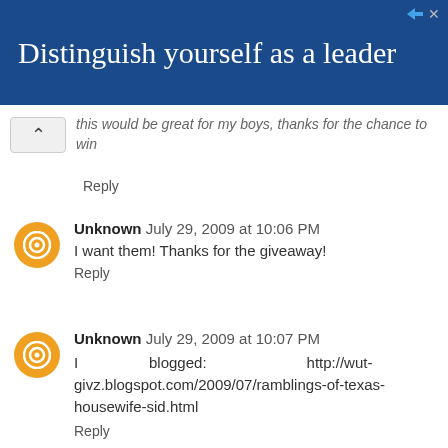[Figure (other): Advertisement banner with dark blue background and white text reading 'Distinguish yourself as a leader']
this would be great for my boys, thanks for the chance to win
Reply
Unknown July 29, 2009 at 10:06 PM
I want them! Thanks for the giveaway!
Reply
Unknown July 29, 2009 at 10:07 PM
I blogged: http://wut-givz.blogspot.com/2009/07/ramblings-of-texas-housewife-sid.html
Reply